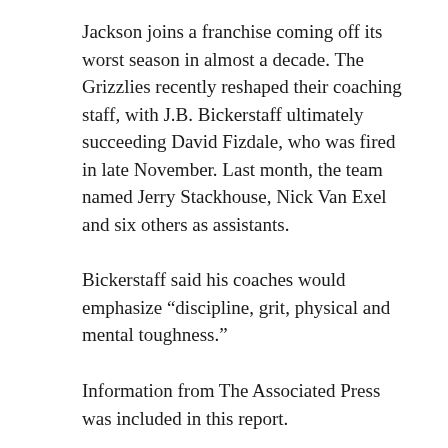Jackson joins a franchise coming off its worst season in almost a decade. The Grizzlies recently reshaped their coaching staff, with J.B. Bickerstaff ultimately succeeding David Fizdale, who was fired in late November. Last month, the team named Jerry Stackhouse, Nick Van Exel and six others as assistants.
Bickerstaff said his coaches would emphasize “discipline, grit, physical and mental toughness.”
Information from The Associated Press was included in this report.
http://www.espn.com/nba/story/_/id/23867326/2018-nba-draft-memphis-grizzlies-select-jaren-jackson-jr-fourth-pick